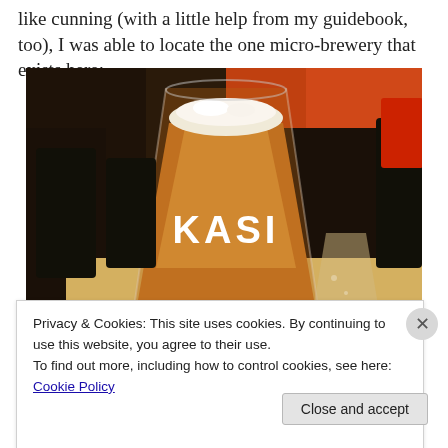like cunning (with a little help from my guidebook, too), I was able to locate the one micro-brewery that exists here:
[Figure (photo): A glass of amber beer with white foam head labeled 'KASI' on the side, sitting on a table in a restaurant/bar setting with dark furniture and orange accents. A smaller glass is visible in the background to the right.]
Privacy & Cookies: This site uses cookies. By continuing to use this website, you agree to their use.
To find out more, including how to control cookies, see here: Cookie Policy
Close and accept